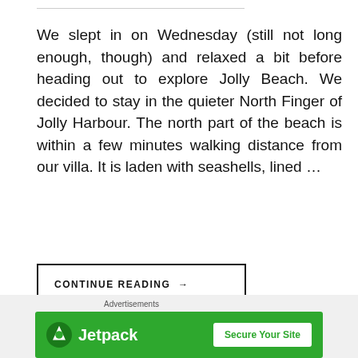We slept in on Wednesday (still not long enough, though) and relaxed a bit before heading out to explore Jolly Beach. We decided to stay in the quieter North Finger of Jolly Harbour. The north part of the beach is within a few minutes walking distance from our villa. It is laden with seashells, lined …
CONTINUE READING →
[Figure (other): Jetpack advertisement banner with green background, Jetpack logo on left and 'Secure Your Site' button on right]